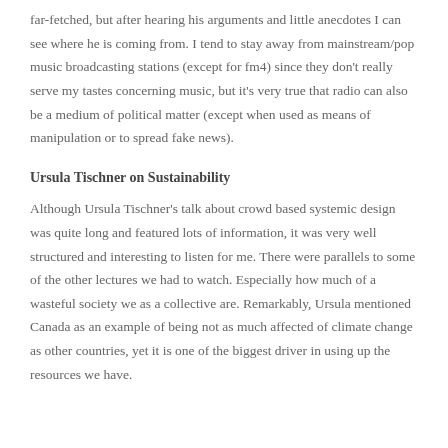far-fetched, but after hearing his arguments and little anecdotes I can see where he is coming from. I tend to stay away from mainstream/pop music broadcasting stations (except for fm4) since they don't really serve my tastes concerning music, but it's very true that radio can also be a medium of political matter (except when used as means of manipulation or to spread fake news).
Ursula Tischner on Sustainability
Although Ursula Tischner's talk about crowd based systemic design was quite long and featured lots of information, it was very well structured and interesting to listen for me. There were parallels to some of the other lectures we had to watch. Especially how much of a wasteful society we as a collective are. Remarkably, Ursula mentioned Canada as an example of being not as much affected of climate change as other countries, yet it is one of the biggest driver in using up the resources we have.